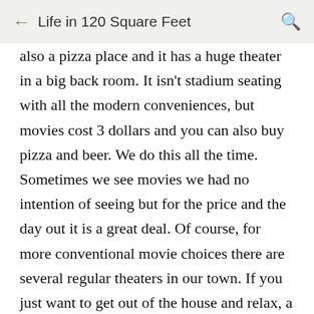Life in 120 Square Feet
also a pizza place and it has a huge theater in a big back room. It isn't stadium seating with all the modern conveniences, but movies cost 3 dollars and you can also buy pizza and beer. We do this all the time. Sometimes we see movies we had no intention of seeing but for the price and the day out it is a great deal. Of course, for more conventional movie choices there are several regular theaters in our town. If you just want to get out of the house and relax, a movie is a great idea. (Especially in hot summer to get out of a non-climate controlled tiny house during